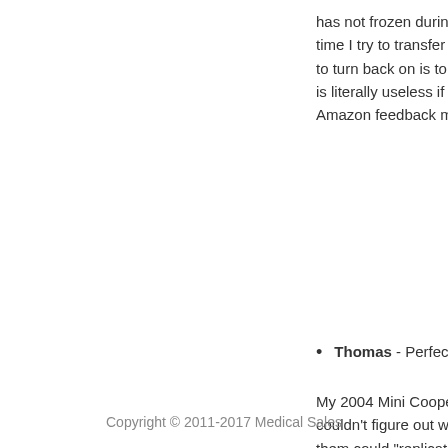has not frozen during re time I try to transfer fi to turn back on is to re is literally useless if I c Amazon feedback mak
Thomas - Perfect fo My 2004 Mini Cooper S couldn't figure out what them could "replicate" t fuel additives, and pret
Copyright © 2011-2017 Medical Sales